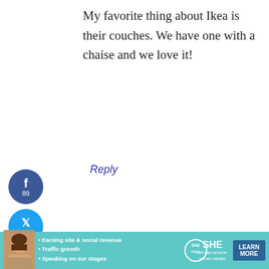My favorite thing about Ikea is their couches. We have one with a chaise and we love it!
[Figure (other): Facebook share button, blue circle with 'f' icon, count 89]
[Figure (other): Twitter share button, cyan circle with bird icon, count 60]
[Figure (other): Pinterest share button, red circle with P icon]
149
SHARES
Reply
[Figure (illustration): Avatar image with dark blue and lime green geometric pattern]
elizabeth h. says
AUGUST 20, 2015 AT 4:56 PM
I love the furniture!!
[Figure (other): Advertisement banner: SHE Partner Network - Earning site & social revenue, Traffic growth, Speaking on our stages. LEARN MORE button.]